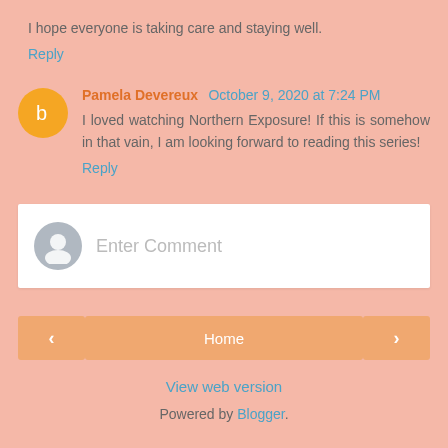I hope everyone is taking care and staying well.
Reply
Pamela Devereux October 9, 2020 at 7:24 PM
I loved watching Northern Exposure! If this is somehow in that vain, I am looking forward to reading this series!
Reply
[Figure (other): Comment input box with gray avatar and Enter Comment placeholder text]
[Figure (other): Navigation bar with left arrow button, Home button, and right arrow button]
View web version
Powered by Blogger.